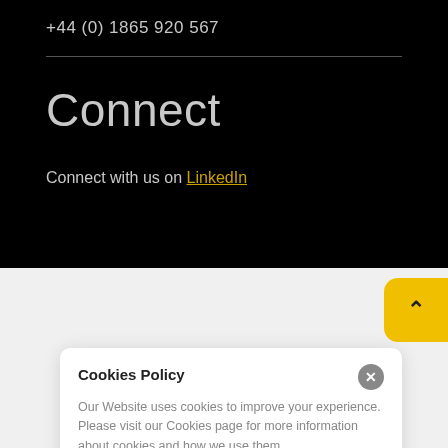+44 (0) 1865 920 567
Connect
Connect with us on LinkedIn
Cookies Policy
Our Website uses cookies to improve your experience. Please visit our Cookies page for more information about cookies and how we use them.